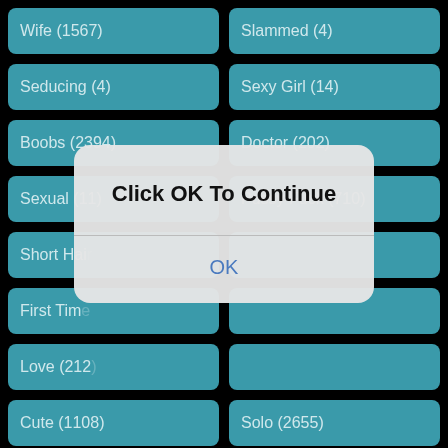Wife (1567)
Slammed (4)
Seducing (4)
Sexy Girl (14)
Boobs (2394)
Doctor (202)
Sexual (11)
Pussy Fuck (710)
Short Hair
First Time
Love (212
Cute (1108)
Solo (2655)
Cumshot (5470)
Beauty (383)
Buxom (1)
Blowjob (26122)
Fucking (3571)
Homemade (3716)
Click OK To Continue
OK